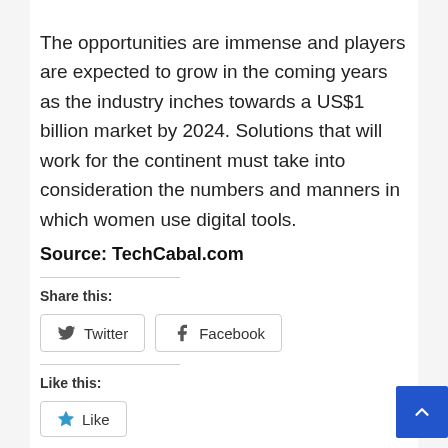The opportunities are immense and players are expected to grow in the coming years as the industry inches towards a US$1 billion market by 2024. Solutions that will work for the continent must take into consideration the numbers and manners in which women use digital tools.
Source: TechCabal.com
Share this:
[Figure (other): Twitter and Facebook share buttons]
Like this:
[Figure (other): Like button]
Be the first to like this.